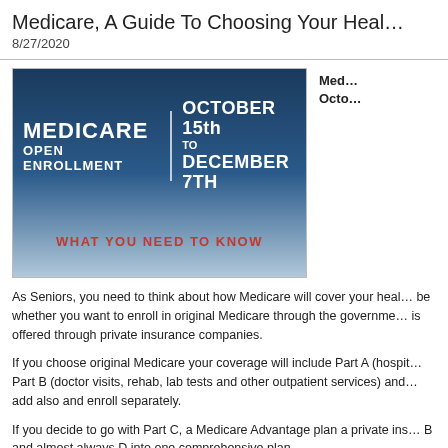Medicare, A Guide To Choosing Your Heal…
8/27/2020
[Figure (illustration): Medicare Open Enrollment banner: dark blue gradient background, text 'MEDICARE OPEN ENROLLMENT | OCTOBER 15th TO DECEMBER 7TH' in white bold, 'WHAT YOU NEED TO KNOW' in red bold]
Med… Octo…
As Seniors, you need to think about how Medicare will cover your heal… be whether you want to enroll in original Medicare through the governme… is offered through private insurance companies.
If you choose original Medicare your coverage will include Part A (hospit… Part B (doctor visits, rehab, lab tests and other outpatient services) and… add also and enroll separately.
If you decide to go with Part C, a Medicare Advantage plan a private ins… B and almost always D into one comprehensive plan.